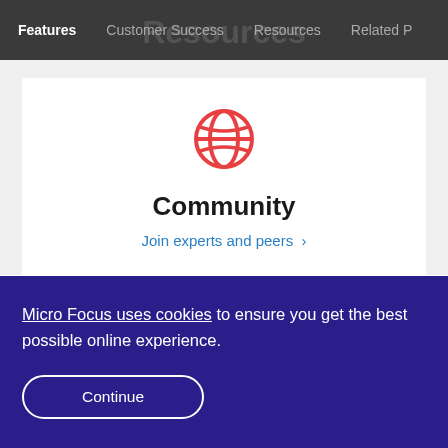Features | Customer Success | Resources | Related P
[Figure (screenshot): Globe/world icon in red/coral color representing Community section]
Community
Join experts and peers ›
Micro Focus uses cookies to ensure you get the best possible online experience.
Continue